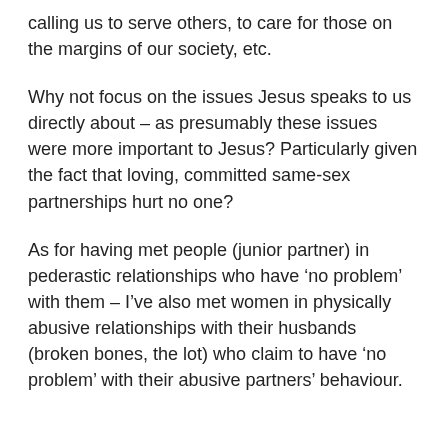calling us to serve others, to care for those on the margins of our society, etc.
Why not focus on the issues Jesus speaks to us directly about – as presumably these issues were more important to Jesus? Particularly given the fact that loving, committed same-sex partnerships hurt no one?
As for having met people (junior partner) in pederastic relationships who have ‘no problem’ with them – I’ve also met women in physically abusive relationships with their husbands (broken bones, the lot) who claim to have ‘no problem’ with their abusive partners’ behaviour.